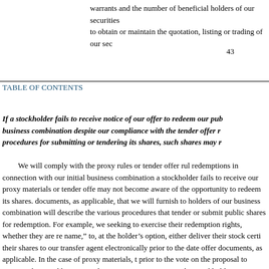warrants and the number of beneficial holders of our securities to obtain or maintain the quotation, listing or trading of our sec
43
TABLE OF CONTENTS
If a stockholder fails to receive notice of our offer to redeem our pub business combination despite our compliance with the tender offer r procedures for submitting or tendering its shares, such shares may r
We will comply with the proxy rules or tender offer rul redemptions in connection with our initial business combination a stockholder fails to receive our proxy materials or tender offe may not become aware of the opportunity to redeem its shares. documents, as applicable, that we will furnish to holders of our business combination will describe the various procedures that tender or submit public shares for redemption. For example, we seeking to exercise their redemption rights, whether they are re name,” to, at the holder’s option, either deliver their stock certi their shares to our transfer agent electronically prior to the date offer documents, as applicable. In the case of proxy materials, t prior to the vote on the proposal to approve the initial business redemptions in connection with a stockholder vote, we intend to